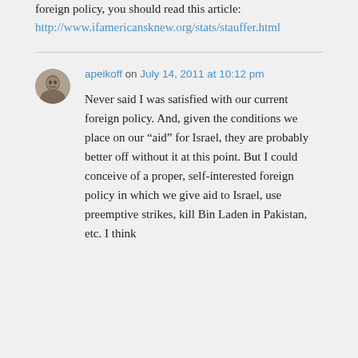foreign policy, you should read this article: http://www.ifamericansknew.org/stats/stauffer.html
apeikoff on July 14, 2011 at 10:12 pm
Never said I was satisfied with our current foreign policy. And, given the conditions we place on our “aid” for Israel, they are probably better off without it at this point. But I could conceive of a proper, self-interested foreign policy in which we give aid to Israel, use preemptive strikes, kill Bin Laden in Pakistan, etc. I think